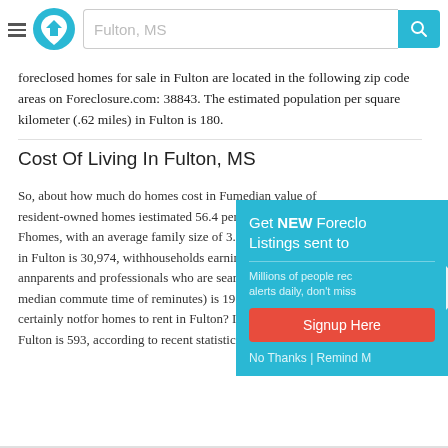Fulton, MS
foreclosed homes for sale in Fulton are located in the following zip code areas on Foreclosure.com: 38843. The estimated population per square kilometer (.62 miles) in Fulton is 180.
Cost Of Living In Fulton, MS
So, about how much do homes cost in Fu... median value of resident-owned homes in... estimated 56.4 percent of households in F... homes, with an average family size of 3.06... household income in Fulton is 30,974, with... households earning at least $100,000 ann... parents and professionals who are search... in Fulton, the median commute time of re... minutes) is 19.3. And last, but certainly not... for homes to rent in Fulton? If so, the aver... renters in Fulton is 593, according to recent statistics.
[Figure (screenshot): Popup overlay: Get NEW Foreclosure Listings sent to [you]. Millions of people rec... alerts daily, don't miss... Signup Here button. No Thanks | Remind M...]